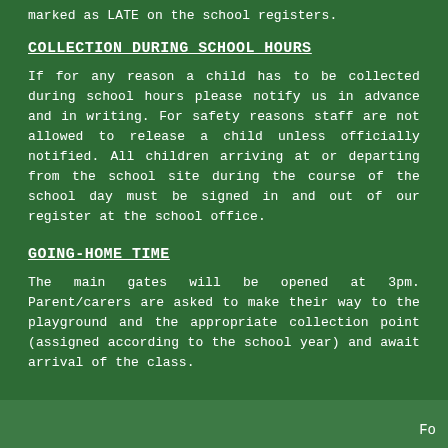marked as LATE on the school registers.
COLLECTION DURING SCHOOL HOURS
If for any reason a child has to be collected during school hours please notify us in advance and in writing. For safety reasons staff are not allowed to release a child unless officially notified. All children arriving at or departing from the school site during the course of the school day must be signed in and out of our register at the school office.
GOING-HOME TIME
The main gates will be opened at 3pm. Parent/carers are asked to make their way to the playground and the appropriate collection point (assigned according to the school year) and await arrival of the class.
Fo